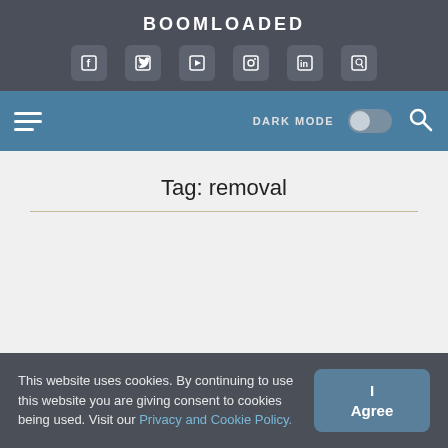BOOMLOADED
[Figure (other): Social media icons row: Facebook, Twitter, YouTube, Instagram, LinkedIn, Pinterest]
Navigation bar with hamburger menu, DARK MODE toggle, and search icon
Tag: removal
This website uses cookies. By continuing to use this website you are giving consent to cookies being used. Visit our Privacy and Cookie Policy.